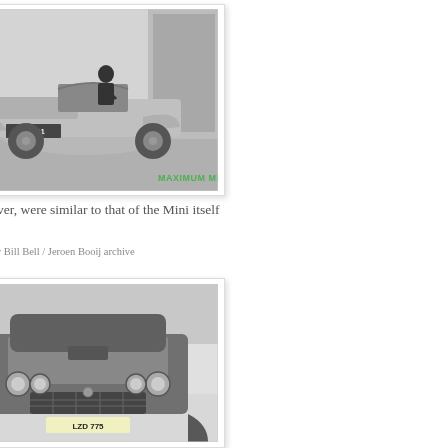[Figure (photo): Black and white photograph of a small sports car (Mini-based prototype) with a man leaning over it, license plate XYZ 11, with 'MAXIMUM MINI' text in green overlay]
Wheelbase and track, however, were similar to that of the Mini itself
Picture courtesy Bill Bell / Jeroen Booij archive
[Figure (photo): Black and white photograph of a Mini-based car front view, license plate LZD 775, showing distinctive front grille and headlights in snowy surroundings]